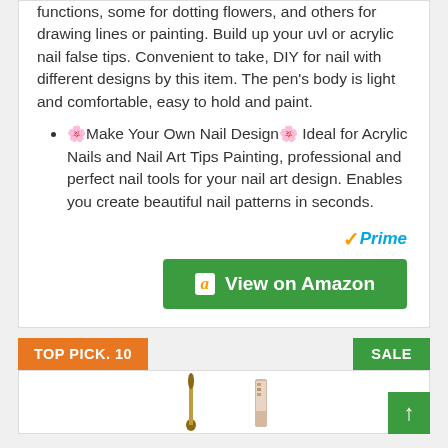functions, some for dotting flowers, and others for drawing lines or painting. Build up your uvl or acrylic nail false tips. Convenient to take, DIY for nail with different designs by this item. The pen's body is light and comfortable, easy to hold and paint.
🌸Make Your Own Nail Design🌸 Ideal for Acrylic Nails and Nail Art Tips Painting, professional and perfect nail tools for your nail art design. Enables you create beautiful nail patterns in seconds.
[Figure (logo): Amazon Prime logo with checkmark and 'Prime' text in blue italic, followed by a green 'View on Amazon' button with Amazon 'a' logo]
TOP PICK. 10
SALE
[Figure (photo): Partial view of nail art brush tools at the bottom of the card]